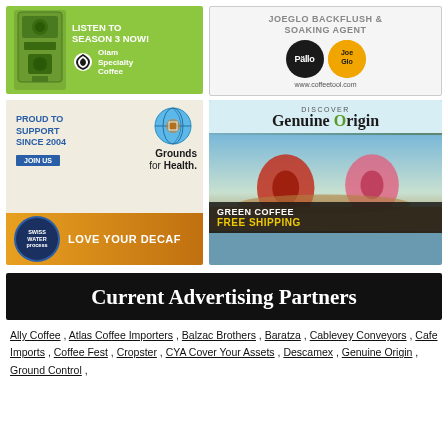[Figure (illustration): Olam Specialty Coffee ad: green background, coffee machine illustration, text 'LISTEN TO SEASON 3 NOW!' with Olam Specialty Coffee logo and leaf icon]
[Figure (illustration): JoeGlo backflush and soaking agent ad: Pallo logo (black circle) and Joe Glo logo (orange circle), www.coffeetool.com]
[Figure (illustration): Grounds for Health ad with Swiss Water Process logo: 'PROUD TO SUPPORT SINCE 2004 JOIN US' and 'Grounds for Health' brand, 'LOVE YOUR DECAF' banner]
[Figure (illustration): Genuine Origin ad: 'DISCOVER Genuine Origin' header, photo of women sorting green coffee beans, 'GREEN COFFEE FREE SHIPPING' banner]
Current Advertising Partners
Ally Coffee , Atlas Coffee Importers , Balzac Brothers , Baratza , Cablevey Conveyors , Cafe Imports , Coffee Fest , Cropster , CYA Cover Your Assets , Descamex , Genuine Origin , Ground Control ,